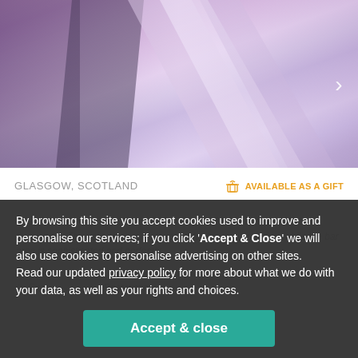[Figure (photo): Blurred purple/violet toned photo of escalator or railing with motion blur effect, navigation arrow on right side]
GLASGOW, SCOTLAND
AVAILABLE AS A GIFT
The ultimate in city style, Kimpton Blythswood Square Hotel is five-star throughout. The vast spa is a playground for luxury wandering, while the bar area is sophisticated and perfectly...
Heated Lounge / Fountain
Gym
Restaurant
By browsing this site you accept cookies used to improve and personalise our services; if you click 'Accept & Close' we will also use cookies to personalise advertising on other sites. Read our updated privacy policy for more about what we do with your data, as well as your rights and choices.
Accept & close
Reject personalised marketing